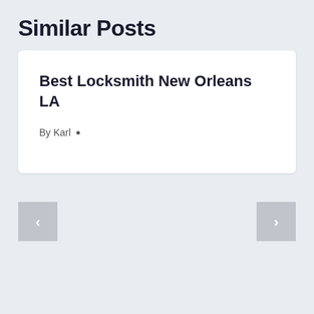Similar Posts
Best Locksmith New Orleans LA
By Karl •
[Figure (other): Left navigation arrow button (grey square with white chevron pointing left)]
[Figure (other): Right navigation arrow button (grey square with white chevron pointing right)]